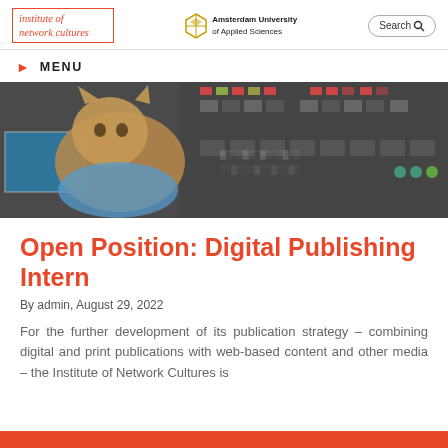institute of network cultures | Amsterdam University of Applied Sciences | Search
MENU
[Figure (photo): A cat sitting in front of a complex control panel with many buttons and switches, in a stylized grainy black-and-white image with some color highlights]
Open Position: Digital Publishing Intern
By admin, August 29, 2022
For the further development of its publication strategy – combining digital and print publications with web-based content and other media – the Institute of Network Cultures is